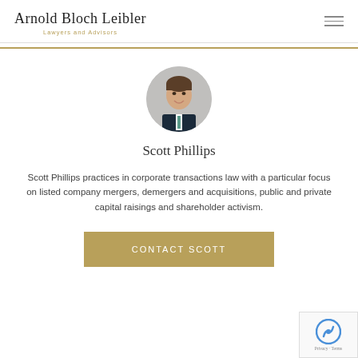Arnold Bloch Leibler
Lawyers and Advisors
[Figure (photo): Circular portrait photo of Scott Phillips, a man in a dark suit and tie, smiling]
Scott Phillips
Scott Phillips practices in corporate transactions law with a particular focus on listed company mergers, demergers and acquisitions, public and private capital raisings and shareholder activism.
CONTACT SCOTT
[Figure (logo): reCAPTCHA badge with Privacy and Terms text]